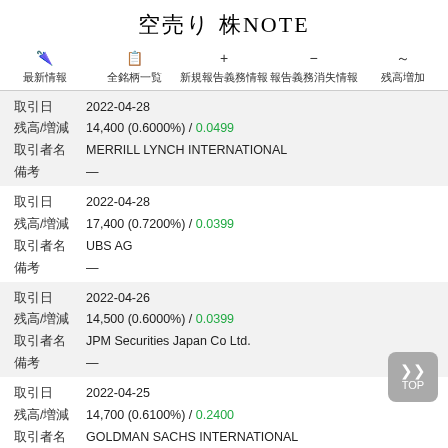空売り 株NOTE
最新情報　全銘柄一覧　新規報告義務情報　報告義務消失情報　残高増加
| 項目 | 内容 |
| --- | --- |
| 取引日 | 2022-04-28 |
| 残高/増減 | 14,400 (0.6000%) / 0.0499 |
| 取引者名 | MERRILL LYNCH INTERNATIONAL |
| 備考 | — |
| 取引日 | 2022-04-28 |
| 残高/増減 | 17,400 (0.7200%) / 0.0399 |
| 取引者名 | UBS AG |
| 備考 | — |
| 取引日 | 2022-04-26 |
| 残高/増減 | 14,500 (0.6000%) / 0.0399 |
| 取引者名 | JPM Securities Japan Co Ltd. |
| 備考 | — |
| 取引日 | 2022-04-25 |
| 残高/増減 | 14,700 (0.6100%) / 0.2400 |
| 取引者名 | GOLDMAN SACHS INTERNATIONAL |
| 備考 | — |
| 取引日 | 2022-04-25 |
| 残高/増減 | 13,400 (0.5500%) / -0.0700 |
| 取引者名 | MERRILL LYNCH INTERNATIONAL |
| 備考 | — |